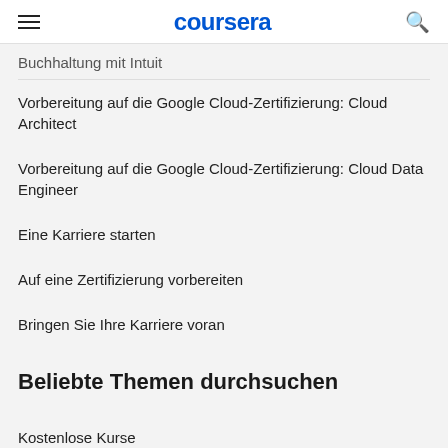coursera
Buchhaltung mit Intuit
Vorbereitung auf die Google Cloud-Zertifizierung: Cloud Architect
Vorbereitung auf die Google Cloud-Zertifizierung: Cloud Data Engineer
Eine Karriere starten
Auf eine Zertifizierung vorbereiten
Bringen Sie Ihre Karriere voran
Beliebte Themen durchsuchen
Kostenlose Kurse
Lernen Sie eine Sprache